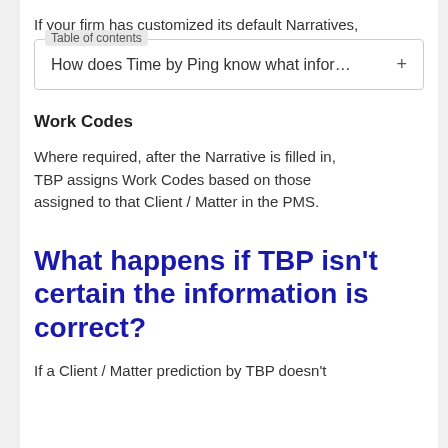If your firm has customized its default Narratives,
Table of contents
How does Time by Ping know what infor... +
Work Codes
Where required, after the Narrative is filled in, TBP assigns Work Codes based on those assigned to that Client / Matter in the PMS.
What happens if TBP isn't certain the information is correct?
If a Client / Matter prediction by TBP doesn't